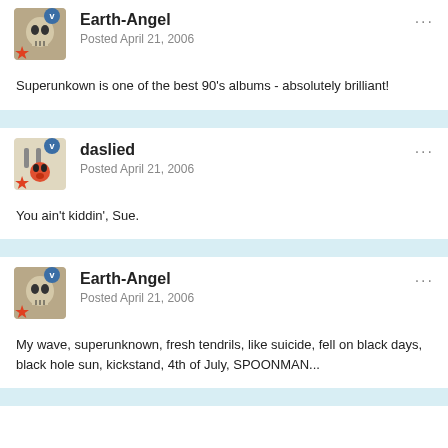Earth-Angel
Posted April 21, 2006
Superunkown is one of the best 90's albums - absolutely brilliant!
daslied
Posted April 21, 2006
You ain't kiddin', Sue.
Earth-Angel
Posted April 21, 2006
My wave, superunknown, fresh tendrils, like suicide, fell on black days, black hole sun, kickstand, 4th of July, SPOONMAN...